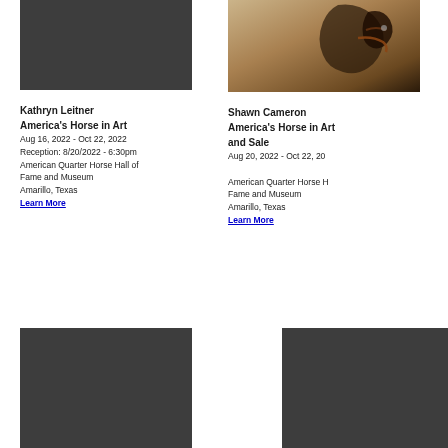[Figure (photo): Dark gray placeholder image, top left]
[Figure (photo): Horse portrait painting, top right, warm brown tones showing horse head with bridle]
Kathryn Leitner
America's Horse in Art
Aug 16, 2022 - Oct 22, 2022
Reception: 8/20/2022 - 6:30pm
American Quarter Horse Hall of Fame and Museum
Amarillo, Texas
Learn More
Shawn Cameron
America's Horse in Art and Sale
Aug 20, 2022 - Oct 22, 20...

American Quarter Horse H... Fame and Museum
Amarillo, Texas
Learn More
[Figure (photo): Dark gray placeholder image, bottom left]
[Figure (photo): Dark gray placeholder image, bottom right]